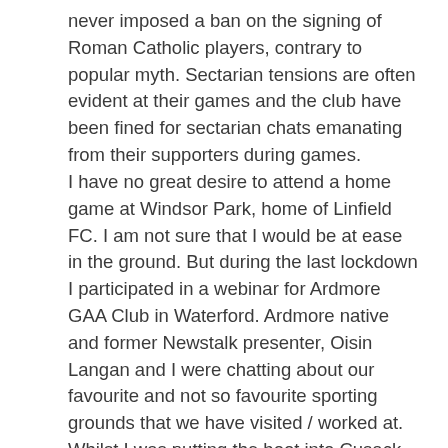never imposed a ban on the signing of Roman Catholic players, contrary to popular myth. Sectarian tensions are often evident at their games and the club have been fined for sectarian chats emanating from their supporters during games. I have no great desire to attend a home game at Windsor Park, home of Linfield FC. I am not sure that I would be at ease in the ground. But during the last lockdown I participated in a webinar for Ardmore GAA Club in Waterford. Ardmore native and former Newstalk presenter, Oisin Langan and I were chatting about our favourite and not so favourite sporting grounds that we have visited / worked at. Whilst I was putting the boot into Cusack Park in Ennis, Oisín spoke warmly about his last visit to Windsor Park in Belfast and the generosity of the welcome he found there when he was covering a game for BBC Northern Ireland.